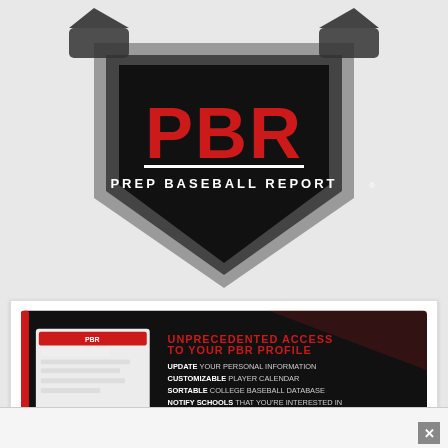[Figure (logo): PBR Prep Baseball Report logo — a black home-plate shaped shield with 'PBR' in large red block letters and 'PREP BASEBALL REPORT' below, with baseball cleat/glove graphics on either side, on a gray background.]
[Figure (infographic): Prospect Plus advertisement card: dark background with red accents, showing a sample PBR profile card on the left, and text listing features: 'UNPRECEDENTED ACCESS TO YOUR PBR PROFILE', 'UPDATE YOUR PERSONAL INFORMATION', 'CUSTOMIZABLE PLAYER CALENDAR', 'SORTABLE COLLEGE BASEBALL DATABASE', 'NOTIFY SCHOOLS THAT YOU'RE INTERESTED IN', 'DOWNLOAD YOUR ENTIRE PBR VIEWERS'. Title reads 'PROSPECT PLUS' with tagline 'YOUR FULL ACCESS PASS'.]